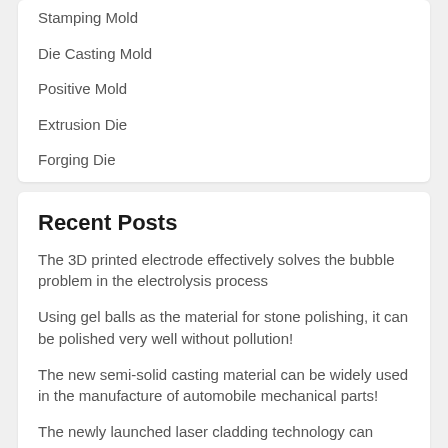Stamping Mold
Die Casting Mold
Positive Mold
Extrusion Die
Forging Die
Recent Posts
The 3D printed electrode effectively solves the bubble problem in the electrolysis process
Using gel balls as the material for stone polishing, it can be polished very well without pollution!
The new semi-solid casting material can be widely used in the manufacture of automobile mechanical parts!
The newly launched laser cladding technology can effectively improve the wear resistance of composite coatings!
The zinc oxide nanowires with controllable size were prepared by a combination of die casting and oxidation